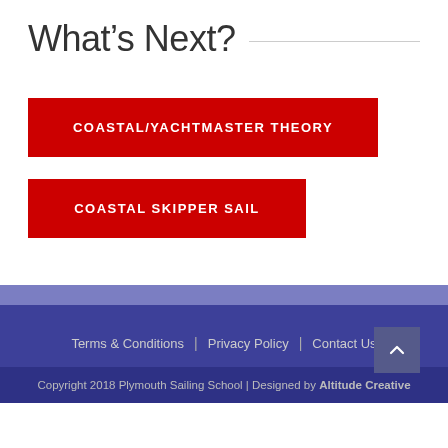What's Next?
COASTAL/YACHTMASTER THEORY
COASTAL SKIPPER SAIL
Terms & Conditions | Privacy Policy | Contact Us
Copyright 2018 Plymouth Sailing School | Designed by Altitude Creative